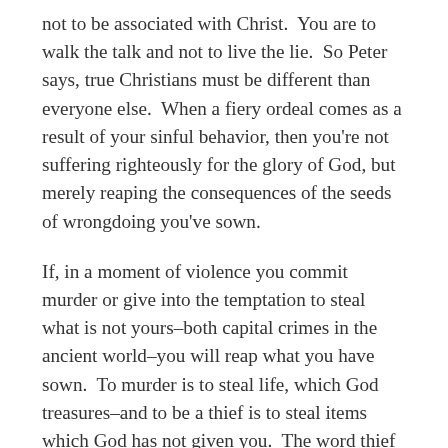not to be associated with Christ. You are to walk the talk and not to live the lie. So Peter says, true Christians must be different than everyone else. When a fiery ordeal comes as a result of your sinful behavior, then you're not suffering righteously for the glory of God, but merely reaping the consequences of the seeds of wrongdoing you've sown.
If, in a moment of violence you commit murder or give into the temptation to steal what is not yours–both capital crimes in the ancient world–you will reap what you have sown. To murder is to steal life, which God treasures–and to be a thief is to steal items which God has not given you. The word thief carries the idea of subterfuge, sneakiness, concealment–it is to live out lying, to act against the truth, to defy your God who is in control of all people, all events and all things.